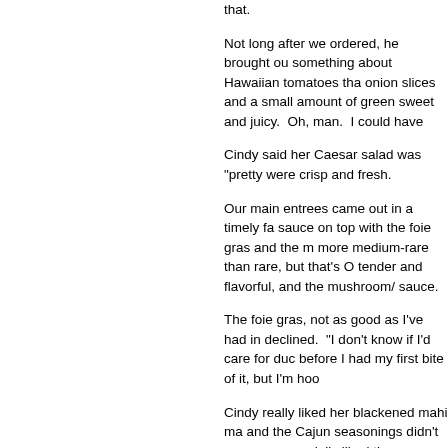that.
Not long after we ordered, he brought ou something about Hawaiian tomatoes tha onion slices and a small amount of green sweet and juicy.  Oh, man.  I could have
Cindy said her Caesar salad was "pretty were crisp and fresh.
Our main entrees came out in a timely fa sauce on top with the foie gras and the m more medium-rare than rare, but that's O tender and flavorful, and the mushroom/ sauce.
The foie gras, not as good as I've had in declined.  "I don't know if I'd care for duc before I had my first bite of it, but I'm hoo
Cindy really liked her blackened mahi ma and the Cajun seasonings didn't overpow especially liked the papaya salsa and the taste of the fish from cooking it in the bu a side of steamed vegetables that she sa right.  They were fresh and still had a litt
Our waiter did a pretty good job with us. and that delayed his service to us and hi wasn't anything that was out of line.  The was working the tables for a better tip, I'r